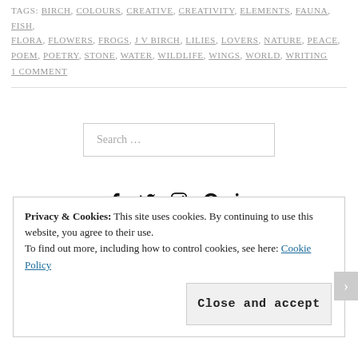TAGS: BIRCH, COLOURS, CREATIVE, CREATIVITY, ELEMENTS, FAUNA, FISH, FLORA, FLOWERS, FROGS, J V BIRCH, LILIES, LOVERS, NATURE, PEACE, POEM, POETRY, STONE, WATER, WILDLIFE, WINGS, WORLD, WRITING
1 COMMENT
Search …
[Figure (infographic): Social media icons: Facebook, Twitter, Instagram, Pinterest, LinkedIn]
Privacy & Cookies: This site uses cookies. By continuing to use this website, you agree to their use. To find out more, including how to control cookies, see here: Cookie Policy
Close and accept